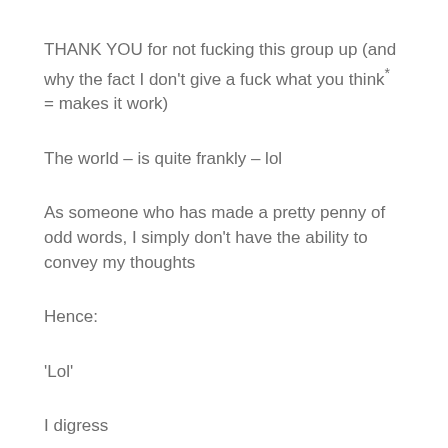THANK YOU for not fucking this group up (and why the fact I don't give a fuck what you think* = makes it work)
The world – is quite frankly – lol
As someone who has made a pretty penny of odd words, I simply don't have the ability to convey my thoughts
Hence:
'Lol'
I digress